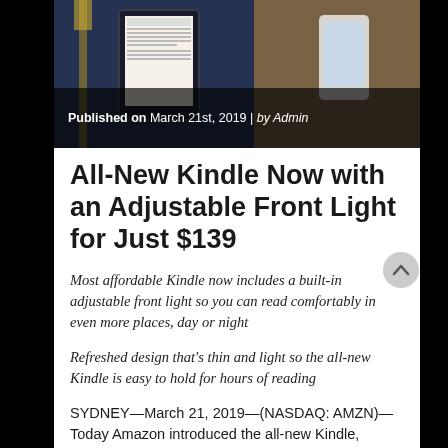[Figure (photo): Hero image of Kindle e-reader device on a surface, dark blue and brown tones]
Published on March 21st, 2019 | by Admin
All-New Kindle Now with an Adjustable Front Light for Just $139
Most affordable Kindle now includes a built-in adjustable front light so you can read comfortably in even more places, day or night
Refreshed design that's thin and light so the all-new Kindle is easy to hold for hours of reading
SYDNEY—March 21, 2019—(NASDAQ: AMZN)—Today Amazon introduced the all-new Kindle, which enables you to adjust the display brightness to read comfortably in even